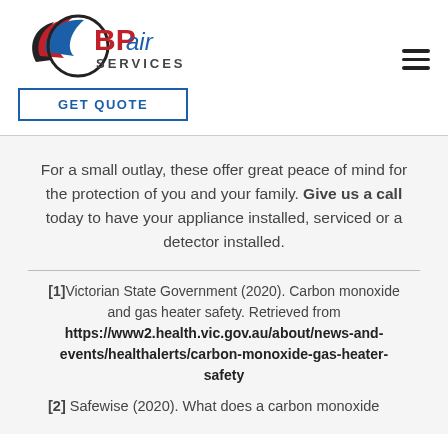[Figure (logo): BPair Services logo with red and blue swoosh design]
GET QUOTE
For a small outlay, these offer great peace of mind for the protection of you and your family. Give us a call today to have your appliance installed, serviced or a detector installed.
[1]Victorian State Government (2020). Carbon monoxide and gas heater safety. Retrieved from https://www2.health.vic.gov.au/about/news-and-events/healthalerts/carbon-monoxide-gas-heater-safety
[2] Safewise (2020). What does a carbon monoxide